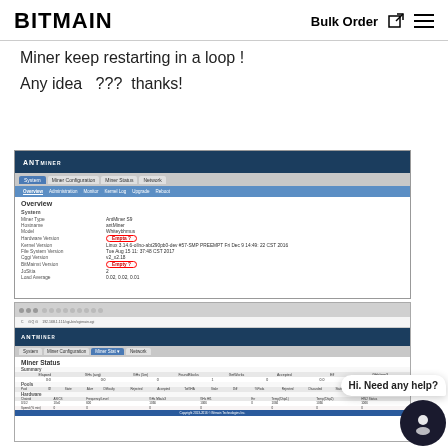BITMAIN | Bulk Order
Miner keep restarting in a loop !
Any idea   ???  thanks!
[Figure (screenshot): Antminer web UI showing System Overview with Hardware Version and Bitmain Version fields highlighted in red ovals]
[Figure (screenshot): Antminer web UI showing Miner Status page with hashrate table and hardware details, with a chatbot widget showing 'Hi. Need any help?']